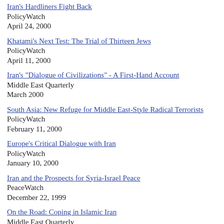Iran's Hardliners Fight Back
PolicyWatch
April 24, 2000
Khatami's Next Test: The Trial of Thirteen Jews
PolicyWatch
April 11, 2000
Iran's "Dialogue of Civilizations" - A First-Hand Account
Middle East Quarterly
March 2000
South Asia: New Refuge for Middle East-Style Radical Terrorists
PolicyWatch
February 11, 2000
Europe's Critical Dialogue with Iran
PolicyWatch
January 10, 2000
Iran and the Prospects for Syria-Israel Peace
PeaceWatch
December 22, 1999
On the Road: Coping in Islamic Iran
Middle East Quarterly